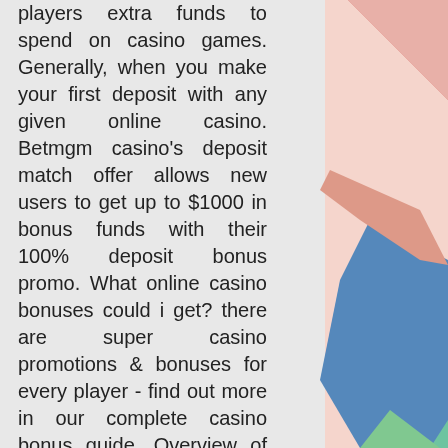[Figure (illustration): Colorful geometric shapes background on the right side: pink/salmon triangle top-right, yellow triangle, teal/green shape, blue polygon, coral/salmon shape, green shape at bottom]
players extra funds to spend on casino games. Generally, when you make your first deposit with any given online casino. Betmgm casino's deposit match offer allows new users to get up to $1000 in bonus funds with their 100% deposit bonus promo. What online casino bonuses could i get? there are super casino promotions &amp; bonuses for every player - find out more in our complete casino bonus guide. Overview of the best online casino bonuses. Criteria for a good welcome bonus; guide to casino bonuses The Gentry Manor Hotel can be found at this location on your map in West Vinewood, free spin city slot. Once you've reached this location make your way into the courtyard to find the card on a chair. To start the casino missions in GTA Online you've actually need to purchase property in the Diamond Casino and have a VIP membership. The VIP membership will cost you $500 and it will allow you to play the games in the casino,